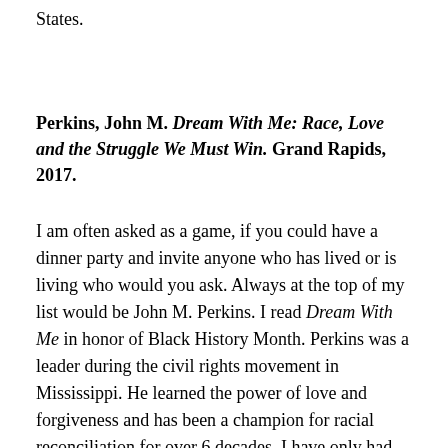States.
Perkins, John M. Dream With Me: Race, Love and the Struggle We Must Win. Grand Rapids, 2017.
I am often asked as a game, if you could have a dinner party and invite anyone who has lived or is living who would you ask. Always at the top of my list would be John M. Perkins. I read Dream With Me in honor of Black History Month. Perkins was a leader during the civil rights movement in Mississippi. He learned the power of love and forgiveness and has been a champion for racial reconciliation for over 6 decades. I have only had the opportunity to hear him speak once and immediately I wanted to know more about this man. I reviewed his